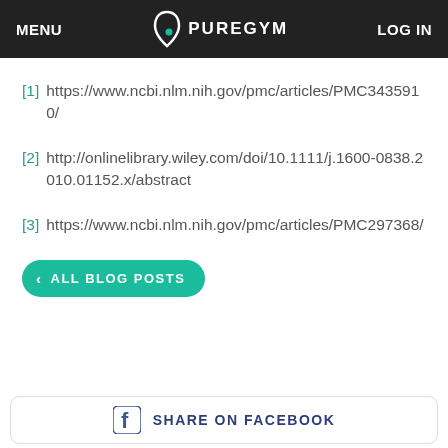MENU  PUREGYM  LOG IN
[1] https://www.ncbi.nlm.nih.gov/pmc/articles/PMC3435910/
[2] http://onlinelibrary.wiley.com/doi/10.1111/j.1600-0838.2010.01152.x/abstract
[3] https://www.ncbi.nlm.nih.gov/pmc/articles/PMC297368/
< ALL BLOG POSTS
SHARE ON FACEBOOK